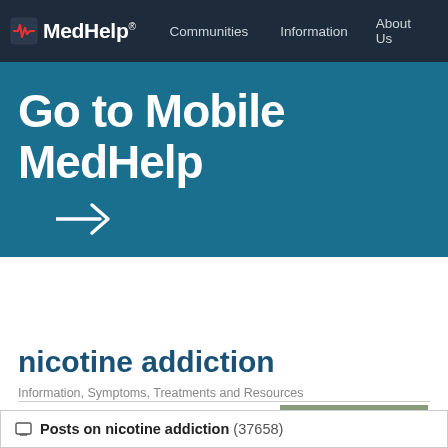MedHelp  Communities  Information  About Us
[Figure (screenshot): MedHelp logo with heart rate icon in red and white on dark navy navigation bar]
Go to Mobile MedHelp
nicotine addiction
Information, Symptoms, Treatments and Resources
Overview
Posts on nicotine addiction (37658)